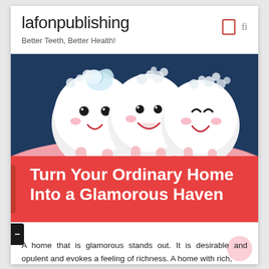lafonpublishing
Better Teeth, Better Health!
[Figure (illustration): Cartoon illustration of three cute smiling tooth characters with foam/bubbles on a dark blue background with pink gums at the bottom]
Turn Your Ordinary Home Into a Glamorous Haven
A home that is glamorous stands out. It is desirable and opulent and evokes a feeling of richness. A home with rich,